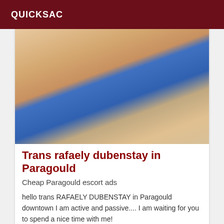QUICKSAC
[Figure (photo): Close-up photo of a person wearing a blue bikini top with yellow trim, with a decorative floral tattoo visible on the arm/torso area, blonde hair visible]
Trans rafaely dubenstay in Paragould
Cheap Paragould escort ads
hello trans RAFAELY DUBENSTAY in Paragould downtown I am active and passive.... I am waiting for you to spend a nice time with me!